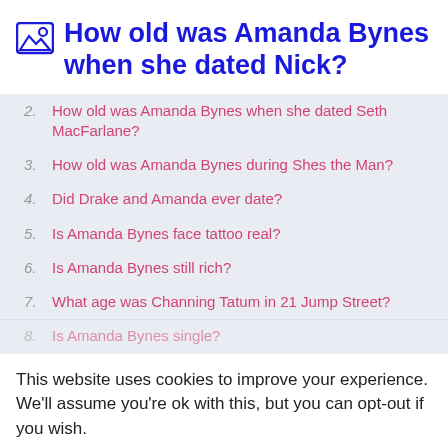How old was Amanda Bynes when she dated Nick?
2. How old was Amanda Bynes when she dated Seth MacFarlane?
3. How old was Amanda Bynes during Shes the Man?
4. Did Drake and Amanda ever date?
5. Is Amanda Bynes face tattoo real?
6. Is Amanda Bynes still rich?
7. What age was Channing Tatum in 21 Jump Street?
8. Is Amanda Bynes single?
This website uses cookies to improve your experience. We'll assume you're ok with this, but you can opt-out if you wish.
Accept  Read More